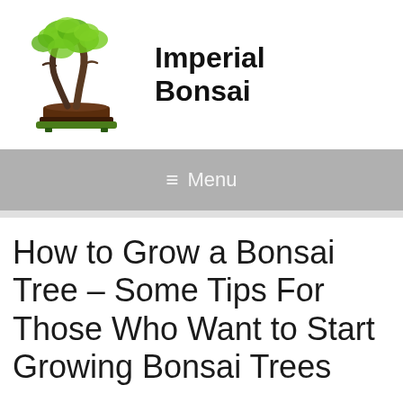[Figure (logo): Imperial Bonsai logo: illustrated bonsai tree with green foliage and brown trunk in a dark pot with green tray, alongside bold text 'Imperial Bonsai']
≡ Menu
How to Grow a Bonsai Tree – Some Tips For Those Who Want to Start Growing Bonsai Trees